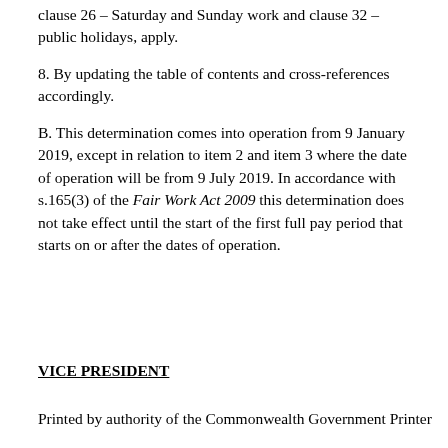clause 26 – Saturday and Sunday work and clause 32 – public holidays, apply.
8. By updating the table of contents and cross-references accordingly.
B. This determination comes into operation from 9 January 2019, except in relation to item 2 and item 3 where the date of operation will be from 9 July 2019. In accordance with s.165(3) of the Fair Work Act 2009 this determination does not take effect until the start of the first full pay period that starts on or after the dates of operation.
VICE PRESIDENT
Printed by authority of the Commonwealth Government Printer